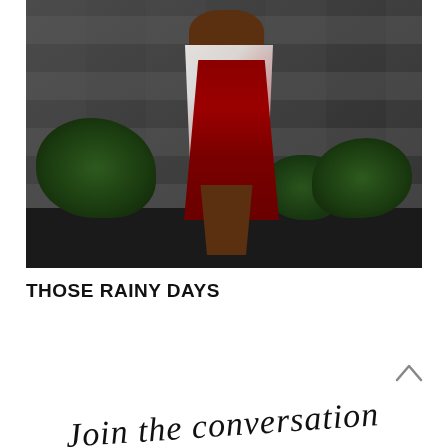[Figure (photo): A person wearing a white and pink printed top over a dark red/maroon dress, standing outdoors at night in front of stone wall with green bushes/shrubs in the background]
THOSE RAINY DAYS
Join the conversation